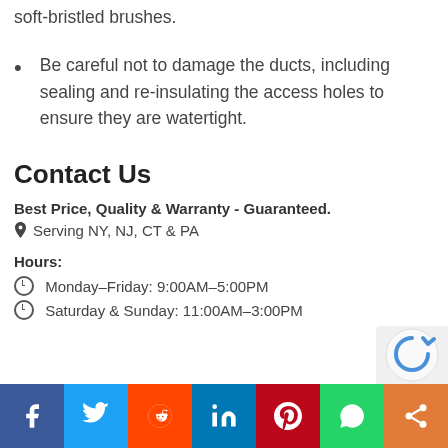soft-bristled brushes.
Be careful not to damage the ducts, including sealing and re-insulating the access holes to ensure they are watertight.
Contact Us
Best Price, Quality & Warranty - Guaranteed.
📍 Serving NY, NJ, CT & PA
Hours:
🕐 Monday–Friday: 9:00AM–5:00PM
🕐 Saturday & Sunday: 11:00AM–3:00PM